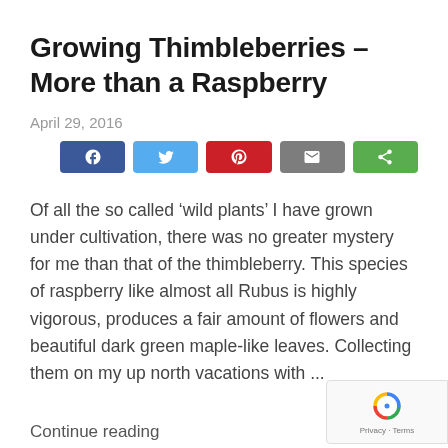Growing Thimbleberries – More than a Raspberry
April 29, 2016
[Figure (other): Row of five social sharing buttons: Facebook (blue), Twitter (light blue), Pinterest (red), Email (gray), Share (green)]
Of all the so called ‘wild plants’ I have grown under cultivation, there was no greater mystery for me than that of the thimbleberry. This species of raspberry like almost all Rubus is highly vigorous, produces a fair amount of flowers and beautiful dark green maple-like leaves. Collecting them on my up north vacations with ...
Continue reading